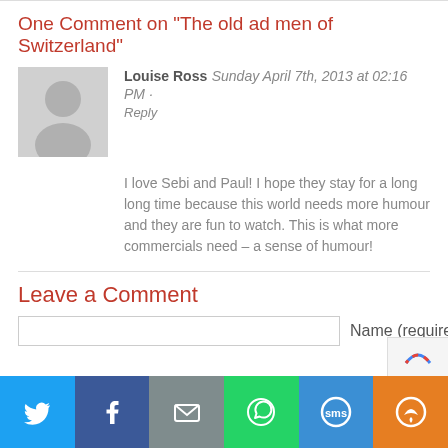One Comment on "The old ad men of Switzerland"
[Figure (illustration): Gray placeholder avatar icon of a person silhouette]
Louise Ross  Sunday April 7th, 2013 at 02:16 PM · Reply
I love Sebi and Paul! I hope they stay for a long long time because this world needs more humour and they are fun to watch. This is what more commercials need – a sense of humour!
Leave a Comment
Name (required)
[Figure (infographic): Social share bar with Twitter, Facebook, Email, WhatsApp, SMS, and More buttons]